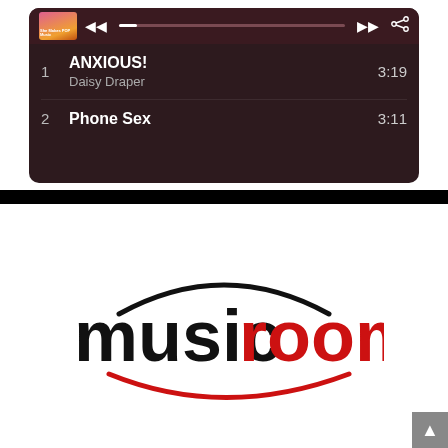[Figure (screenshot): Music player UI showing playlist with dark red/maroon background. Track 1: ANXIOUS! by Daisy Draper, 3:19. Track 2: Phone Sex, 3:11. Album art thumbnail labeled 'She Makes POP Music'. Player controls bar with prev, next, progress bar, and share icon.]
[Figure (logo): musicroom logo — 'music' in black bold sans-serif, 'room' in red bold sans-serif, with a dark arc above the text and a red arc/smile below, forming a room/smile motif.]